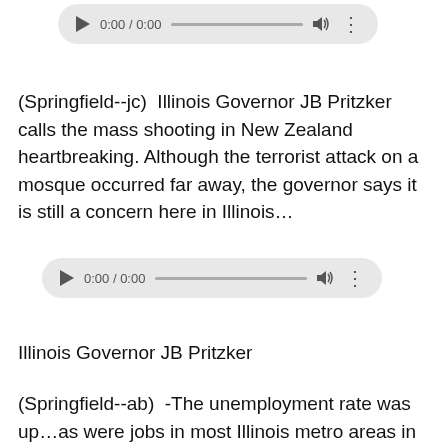[Figure (other): Audio player widget showing 0:00 / 0:00 with play button, progress bar, volume icon, and more-options button]
(Springfield--jc)  Illinois Governor JB Pritzker calls the mass shooting in New Zealand heartbreaking. Although the terrorist attack on a mosque occurred far away, the governor says it is still a concern here in Illinois…
[Figure (other): Audio player widget showing 0:00 / 0:00 with play button, progress bar, volume icon, and more-options button]
Illinois Governor JB Pritzker
(Springfield--ab)  -The unemployment rate was up…as were jobs in most Illinois metro areas in January. 13 out of 14 metro areas had an increase in the jobless rate